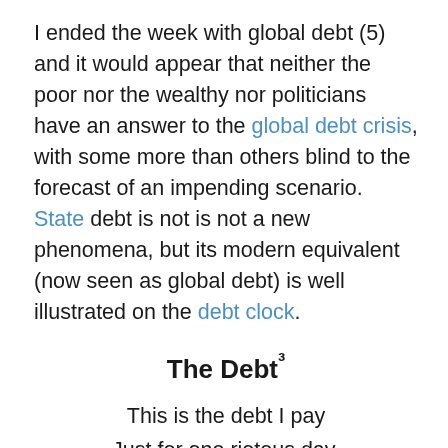I ended the week with global debt (5) and it would appear that neither the poor nor the wealthy nor politicians have an answer to the global debt crisis, with some more than others blind to the forecast of an impending scenario. State debt is not is not a new phenomena, but its modern equivalent (now seen as global debt) is well illustrated on the debt clock.
The Debt³
This is the debt I pay
Just for one riotous day,
Years of regret and grief,
Sorrow without relief.

Pay it I will to the end —